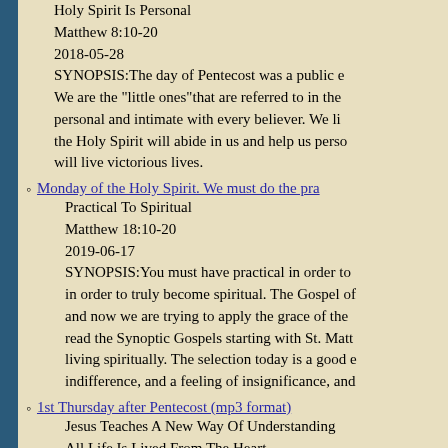Holy Spirit Is Personal
Matthew 8:10-20
2018-05-28
SYNOPSIS:The day of Pentecost was a public e... We are the "little ones"that are referred to in the... personal and intimate with every believer. We li... the Holy Spirit will abide in us and help us perso... will live victorious lives.
Monday of the Holy Spirit. We must do the prac...
Practical To Spiritual
Matthew 18:10-20
2019-06-17
SYNOPSIS:You must have practical in order to... in order to truly become spiritual. The Gospel of... and now we are trying to apply the grace of the... read the Synoptic Gospels starting with St. Matt... living spiritually. The selection today is a good e... indifference, and a feeling of insignificance, and
1st Thursday after Pentecost (mp3 format)
Jesus Teaches A New Way Of Understanding...
All Life Is Lived From The Heart
Matthew 5-27-32,Romans 1-28-2-9